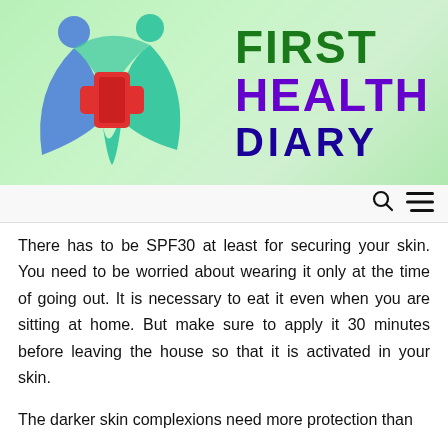[Figure (logo): First Health Diary logo with green background, two human figures forming a heart shape, a red medical cross, and the text FIRST HEALTH DIARY in green/purple/dark blue bold letters]
There has to be SPF30 at least for securing your skin. You need to be worried about wearing it only at the time of going out. It is necessary to eat it even when you are sitting at home. But make sure to apply it 30 minutes before leaving the house so that it is activated in your skin.
The darker skin complexions need more protection than